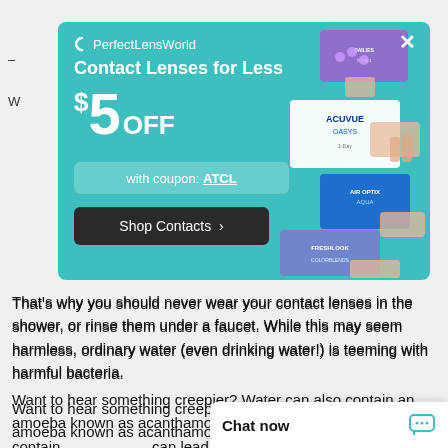[Figure (screenshot): PerfectLensWorld advertisement modal popup with teal/turquoise background showing '$5 OFF' promotion with coupon code ATCL and 'Shop Contacts' button, overlaid on an article page about contact lens hygiene. Contact lens product boxes (Acuvue, Air Optix Aqua, FreshLook) shown in right portion of modal held by hands.]
That's why you should never wear your contact lenses in the shower, or rinse them under a faucet. While this may seem harmless, ordinary water (even drinking water!) is teeming with harmful bacteria.
Want to hear something creepier? Water can also contain an amoeba known as acanthamoeba. This microorganism can co... can lead to blindness.